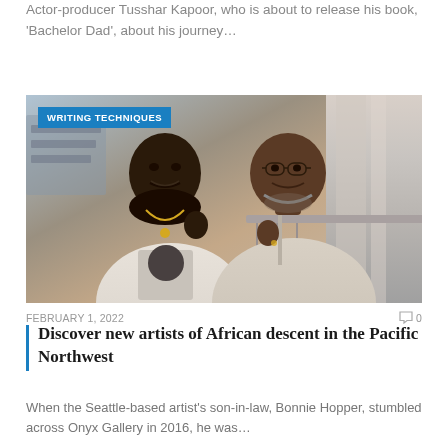Actor-producer Tusshar Kapoor, who is about to release his book, 'Bachelor Dad', about his journey…
[Figure (photo): Two men of African descent smiling together indoors, one wearing a white 'Gallery' sweatshirt with Seattle Washington text, the other in a beige zip-up sweatshirt. Indoor setting with metal railing and escalator visible in the background. A blue 'WRITING TECHNIQUES' badge overlays the top-left corner of the image.]
FEBRUARY 1, 2022  ❯ 0
Discover new artists of African descent in the Pacific Northwest
When the Seattle-based artist's son-in-law, Bonnie Hopper, stumbled across Onyx Gallery in 2016, he was…